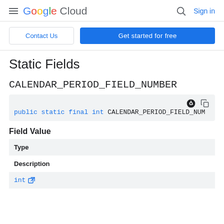Google Cloud — Search, Sign in
Contact Us | Get started for free
Static Fields
CALENDAR_PERIOD_FIELD_NUMBER
public static final int CALENDAR_PERIOD_FIELD_NUM
Field Value
| Type | Description |
| --- | --- |
| int ↗ |  |